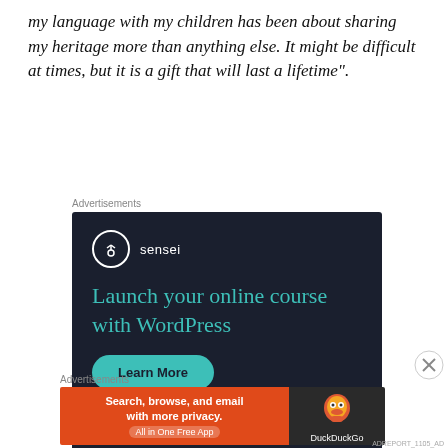my language with my children has been about sharing my heritage more than anything else. It might be difficult at times, but it is a gift that will last a lifetime".
Advertisements
[Figure (screenshot): Sensei advertisement: dark background with Sensei logo (tree icon in circle), headline 'Launch your online course with WordPress' in teal, and a 'Learn More' teal button.]
Advertisements
[Figure (screenshot): DuckDuckGo advertisement: orange left panel with 'Search, browse, and email with more privacy. All in One Free App' and dark right panel with DuckDuckGo duck logo.]